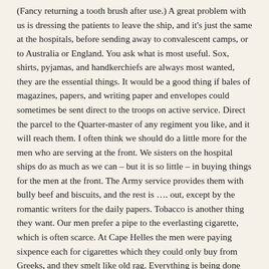(Fancy returning a tooth brush after use.) A great problem with us is dressing the patients to leave the ship, and it's just the same at the hospitals, before sending away to convalescent camps, or to Australia or England. You ask what is most useful. Sox, shirts, pyjamas, and handkerchiefs are always most wanted, they are the essential things. It would be a good thing if bales of magazines, papers, and writing paper and envelopes could sometimes be sent direct to the troops on active service. Direct the parcel to the Quarter-master of any regiment you like, and it will reach them. I often think we should do a little more for the men who are serving at the front. We sisters on the hospital ships do as much as we can – but it is so little – in buying things for the men at the front. The Army service provides them with bully beef and biscuits, and the rest is …. out, except by the romantic writers for the daily papers. Tobacco is another thing they want. Our men prefer a pipe to the everlasting cigarette, which is often scarce. At Cape Helles the men were paying sixpence each for cigarettes which they could only buy from Greeks, and they smelt like old rag. Everything is being done for the men in France, but the poor boys out here get nothing. Continuing the letter next day the writer proceeds: – "We got orders at 4 o'clock and are now at Gaba Tepe. There are five hospital ships laying her in line, and we are just a mile off shore, and on our way up watched the batteries in action at Cape Helles, both ours and the Turks.